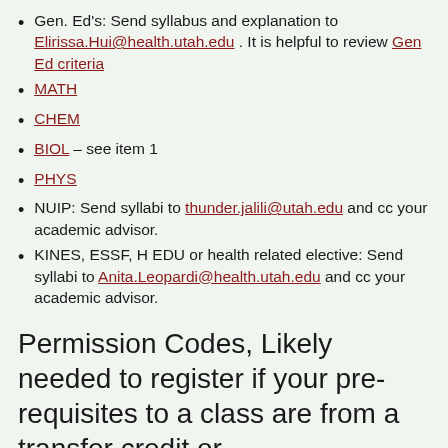Gen. Ed's: Send syllabus and explanation to Elirissa.Hui@health.utah.edu . It is helpful to review Gen Ed criteria
MATH
CHEM
BIOL – see item 1
PHYS
NUIP: Send syllabi to thunder.jalili@utah.edu and cc your academic advisor.
KINES, ESSF, H EDU or health related elective: Send syllabi to Anita.Leopardi@health.utah.edu and cc your academic advisor.
Permission Codes, Likely needed to register if your pre-requisites to a class are from a transfer credit or...